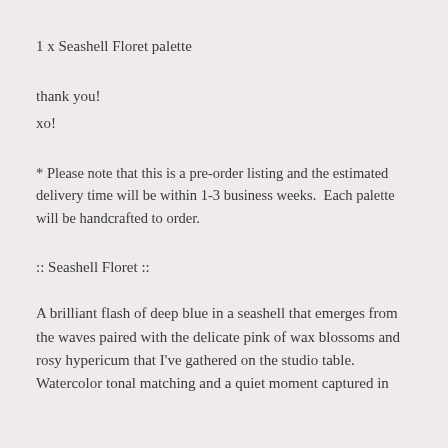1 x Seashell Floret palette
thank you!
xo!
* Please note that this is a pre-order listing and the estimated delivery time will be within 1-3 business weeks.  Each palette will be handcrafted to order.
:: Seashell Floret ::
A brilliant flash of deep blue in a seashell that emerges from the waves paired with the delicate pink of wax blossoms and rosy hypericum that I've gathered on the studio table. Watercolor tonal matching and a quiet moment captured in